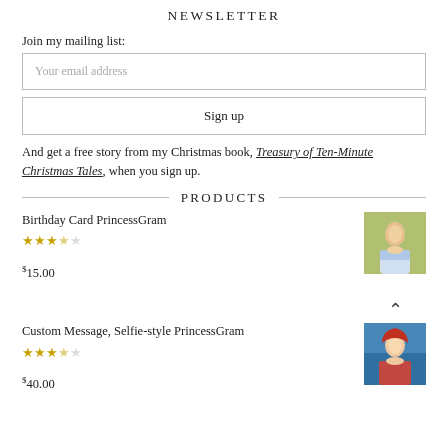NEWSLETTER
Join my mailing list:
Your email address
Sign up
And get a free story from my Christmas book, Treasury of Ten-Minute Christmas Tales, when you sign up.
PRODUCTS
Birthday Card PrincessGram
$15.00
[Figure (photo): Photo of a girl in princess dress outdoors]
Custom Message, Selfie-style PrincessGram
$40.00
[Figure (photo): Photo of a girl with red hair dressed as Ariel]